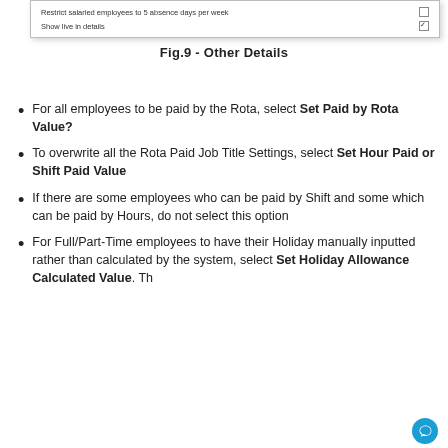[Figure (screenshot): A settings dialog showing two rows: 'Restrict salaried employees to 5 absence days per week' with an unchecked checkbox, and 'Show live in details' with a checked checkbox.]
Fig.9 - Other Details
For all employees to be paid by the Rota, select Set Paid by Rota Value?
To overwrite all the Rota Paid Job Title Settings, select Set Hour Paid or Shift Paid Value
If there are some employees who can be paid by Shift and some which can be paid by Hours, do not select this option
For Full/Part-Time employees to have their Holiday manually inputted rather than calculated by the system, select Set Holiday Allowance Calculated Value. Th